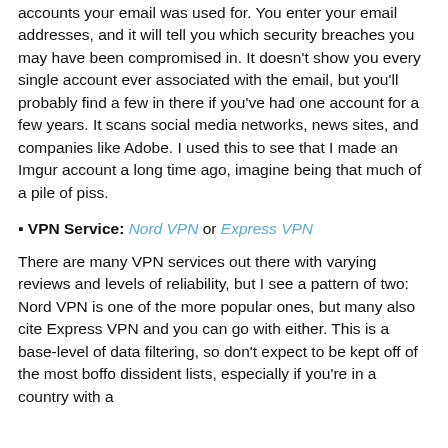accounts your email was used for. You enter your email addresses, and it will tell you which security breaches you may have been compromised in. It doesn't show you every single account ever associated with the email, but you'll probably find a few in there if you've had one account for a few years. It scans social media networks, news sites, and companies like Adobe. I used this to see that I made an Imgur account a long time ago, imagine being that much of a pile of piss.
VPN Service: Nord VPN or Express VPN
There are many VPN services out there with varying reviews and levels of reliability, but I see a pattern of two: Nord VPN is one of the more popular ones, but many also cite Express VPN and you can go with either. This is a base-level of data filtering, so don't expect to be kept off of the most boffo dissident lists, especially if you're in a country with a